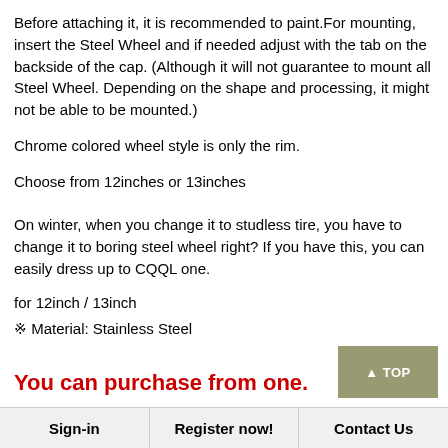Before attaching it, it is recommended to paint.For mounting, insert the Steel Wheel and if needed adjust with the tab on the backside of the cap. (Although it will not guarantee to mount all Steel Wheel. Depending on the shape and processing, it might not be able to be mounted.)
Chrome colored wheel style is only the rim.
Choose from 12inches or 13inches
On winter, when you change it to studless tire, you have to change it to boring steel wheel right? If you have this, you can easily dress up to CQQL one.
for 12inch / 13inch
※ Material: Stainless Steel
You can purchase from one.
Sign-in  Register now!  Contact Us